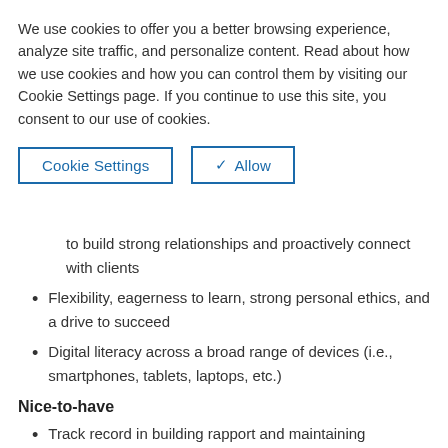We use cookies to offer you a better browsing experience, analyze site traffic, and personalize content. Read about how we use cookies and how you can control them by visiting our Cookie Settings page. If you continue to use this site, you consent to our use of cookies.
Cookie Settings | ✓ Allow
to build strong relationships and proactively connect with clients
Flexibility, eagerness to learn, strong personal ethics, and a drive to succeed
Digital literacy across a broad range of devices (i.e., smartphones, tablets, laptops, etc.)
Nice-to-have
Track record in building rapport and maintaining